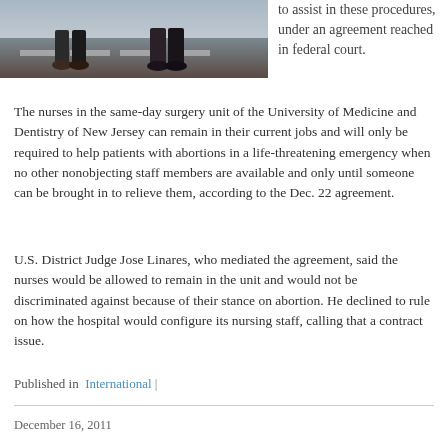[Figure (photo): Partial photo showing people's legs/feet walking on a crosswalk or pavement, cropped at top of page]
to assist in these procedures, under an agreement reached in federal court.
The nurses in the same-day surgery unit of the University of Medicine and Dentistry of New Jersey can remain in their current jobs and will only be required to help patients with abortions in a life-threatening emergency when no other nonobjecting staff members are available and only until someone can be brought in to relieve them, according to the Dec. 22 agreement.
U.S. District Judge Jose Linares, who mediated the agreement, said the nurses would be allowed to remain in the unit and would not be discriminated against because of their stance on abortion. He declined to rule on how the hospital would configure its nursing staff, calling that a contract issue.
Published in  International |
December 16, 2011